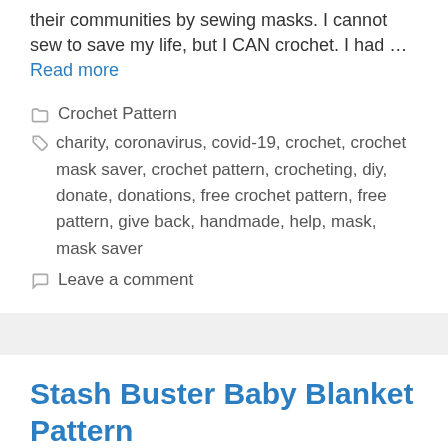their communities by sewing masks. I cannot sew to save my life, but I CAN crochet. I had … Read more
Crochet Pattern
charity, coronavirus, covid-19, crochet, crochet mask saver, crochet pattern, crocheting, diy, donate, donations, free crochet pattern, free pattern, give back, handmade, help, mask, mask saver
Leave a comment
Stash Buster Baby Blanket Pattern